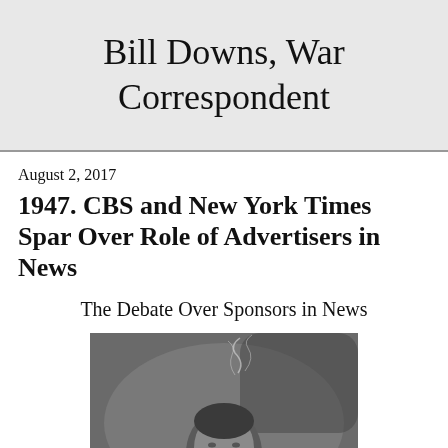Bill Downs, War Correspondent
August 2, 2017
1947. CBS and New York Times Spar Over Role of Advertisers in News
The Debate Over Sponsors in News
[Figure (photo): Black and white photograph of a man (Bill Downs) with cigarette smoke rising above his head, looking slightly downward]